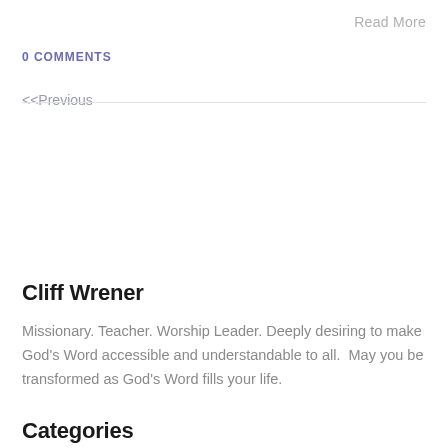Read More
0 COMMENTS
<<Previous
Cliff Wrener
Missionary. Teacher. Worship Leader. Deeply desiring to make God's Word accessible and understandable to all.  May you be transformed as God's Word fills your life.
Categories